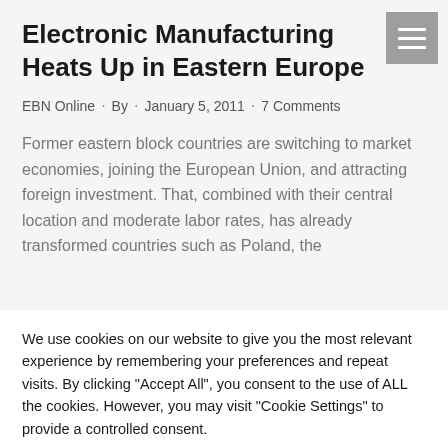Electronic Manufacturing Heats Up in Eastern Europe
EBN Online · By · January 5, 2011 · 7 Comments
Former eastern block countries are switching to market economies, joining the European Union, and attracting foreign investment. That, combined with their central location and moderate labor rates, has already transformed countries such as Poland, the
We use cookies on our website to give you the most relevant experience by remembering your preferences and repeat visits. By clicking "Accept All", you consent to the use of ALL the cookies. However, you may visit "Cookie Settings" to provide a controlled consent.